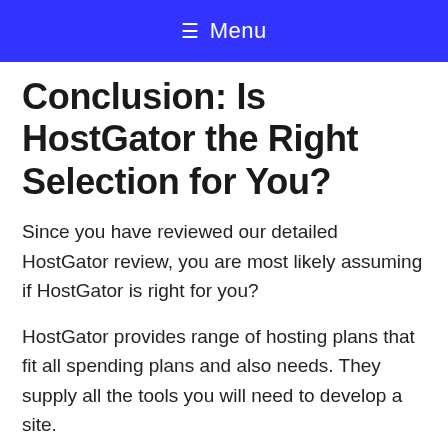☰ Menu
Conclusion: Is HostGator the Right Selection for You?
Since you have reviewed our detailed HostGator review, you are most likely assuming if HostGator is right for you?
HostGator provides range of hosting plans that fit all spending plans and also needs. They supply all the tools you will need to develop a site.